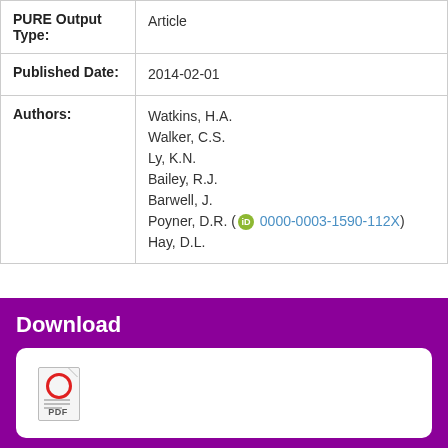| Field | Value |
| --- | --- |
| PURE Output Type: | Article |
| Published Date: | 2014-02-01 |
| Authors: | Watkins, H.A.
Walker, C.S.
Ly, K.N.
Bailey, R.J.
Barwell, J.
Poyner, D.R. (0000-0003-1590-112X)
Hay, D.L. |
Download
[Figure (illustration): PDF file icon with red circle and PDF label]